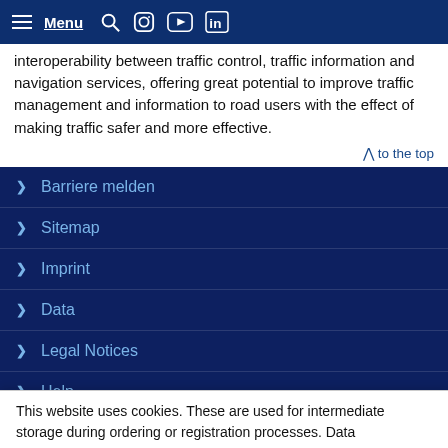Menu
interoperability between traffic control, traffic information and navigation services, offering great potential to improve traffic management and information to road users with the effect of making traffic safer and more effective.
^ to the top
Barriere melden
Sitemap
Imprint
Data
Legal Notices
Help
This website uses cookies. These are used for intermediate storage during ordering or registration processes. Data